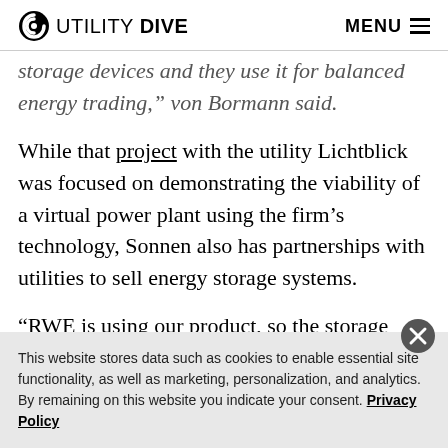UTILITY DIVE   MENU
storage devices and they use it for balanced energy trading,” von Bormann said.
While that project with the utility Lichtblick was focused on demonstrating the viability of a virtual power plant using the firm’s technology, Sonnen also has partnerships with utilities to sell energy storage systems.
“RWE is using our product, so the storage product they
This website stores data such as cookies to enable essential site functionality, as well as marketing, personalization, and analytics. By remaining on this website you indicate your consent. Privacy Policy